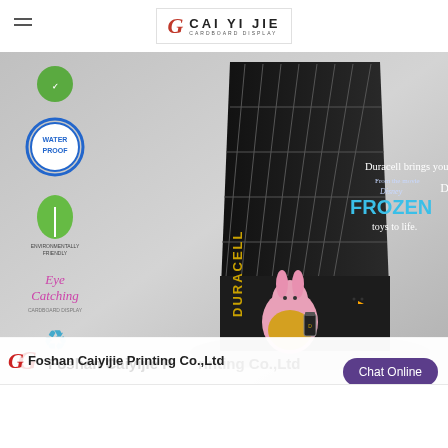CAI YI JIE CARDBOARD DISPLAY
[Figure (photo): Product photo of a black cardboard display stand branded with Duracell and Disney Frozen imagery, showing the bunny mascot and Olaf characters. Left side shows icons: green leaf, Water Proof badge, Environmentally Friendly leaf, Eye Catching script, recycling symbol.]
[Figure (logo): Foshan Caiyijie Printing Co., Ltd company logo with red G icon and company name in bold text]
Chat Online